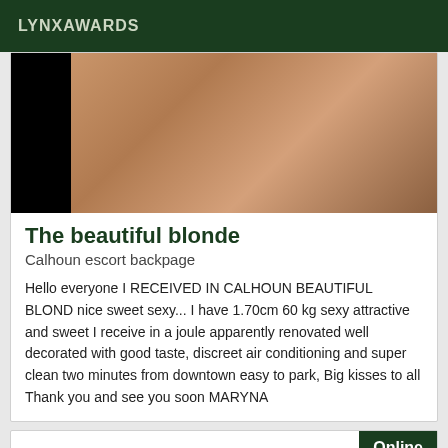LYNXAWARDS
[Figure (photo): Close-up photo of a person, partially obscured, with dark background on the left side]
The beautiful blonde
Calhoun escort backpage
Hello everyone I RECEIVED IN CALHOUN BEAUTIFUL BLOND nice sweet sexy... I have 1.70cm 60 kg sexy attractive and sweet I receive in a joule apparently renovated well decorated with good taste, discreet air conditioning and super clean two minutes from downtown easy to park, Big kisses to all Thank you and see you soon MARYNA
Online